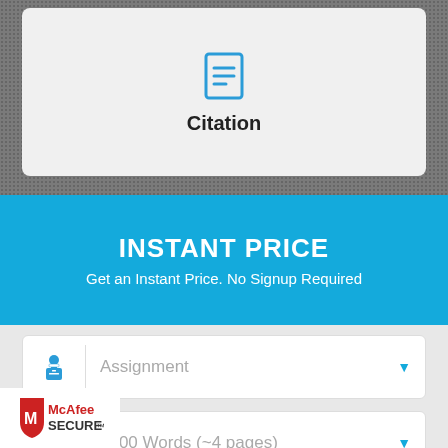[Figure (illustration): Document/citation icon above the word Citation on a light gray card with textured dark background]
INSTANT PRICE
Get an Instant Price. No Signup Required
Assignment (dropdown)
1000 Words (~4 pages) (dropdown)
7 Days (dropdown)
[Figure (logo): McAfee SECURE badge in bottom left corner]